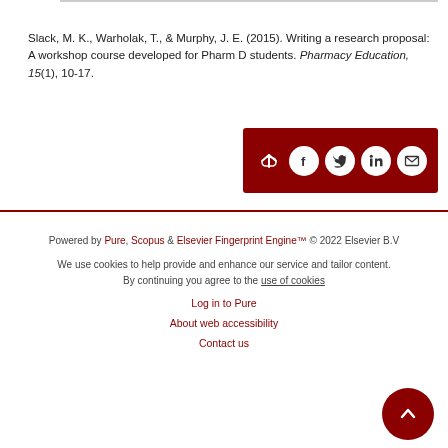Slack, M. K., Warholak, T., & Murphy, J. E. (2015). Writing a research proposal: A workshop course developed for Pharm D students. Pharmacy Education, 15(1), 10-17.
[Figure (other): Dark red share bar with social media icons: share arrow, Facebook, Twitter, LinkedIn, Email]
Powered by Pure, Scopus & Elsevier Fingerprint Engine™ © 2022 Elsevier B.V
We use cookies to help provide and enhance our service and tailor content. By continuing you agree to the use of cookies
Log in to Pure
About web accessibility
Contact us